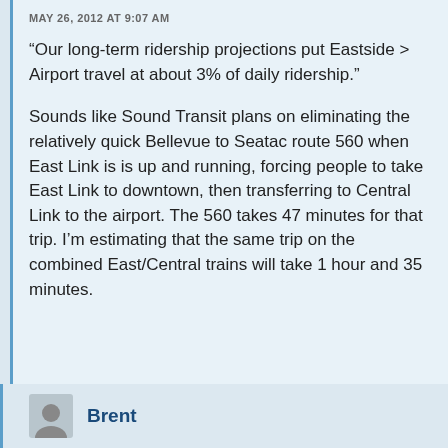MAY 26, 2012 AT 9:07 AM
“Our long-term ridership projections put Eastside > Airport travel at about 3% of daily ridership.”
Sounds like Sound Transit plans on eliminating the relatively quick Bellevue to Seatac route 560 when East Link is is up and running, forcing people to take East Link to downtown, then transferring to Central Link to the airport. The 560 takes 47 minutes for that trip. I’m estimating that the same trip on the combined East/Central trains will take 1 hour and 35 minutes.
Brent